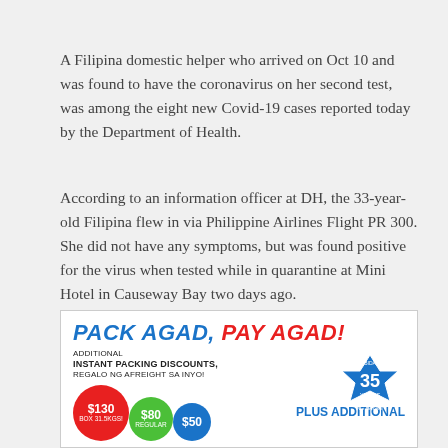A Filipina domestic helper who arrived on Oct 10 and was found to have the coronavirus on her second test, was among the eight new Covid-19 cases reported today by the Department of Health.
According to an information officer at DH, the 33-year-old Filipina flew in via Philippine Airlines Flight PR 300. She did not have any symptoms, but was found positive for the virus when tested while in quarantine at Mini Hotel in Causeway Bay two days ago.
[Figure (infographic): Advertisement for PACK AGAD, PAY AGAD! showing packing discounts with balloons displaying $130, $80, $50 values and a 35 years anniversary badge for BIDA NG BAYAN, with text PLUS ADDITIONAL.]